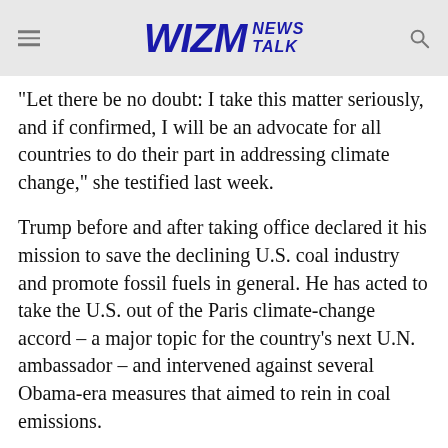WIZM NEWS TALK
“Let there be no doubt: I take this matter seriously, and if confirmed, I will be an advocate for all countries to do their part in addressing climate change,” she testified last week.
Trump before and after taking office declared it his mission to save the declining U.S. coal industry and promote fossil fuels in general. He has acted to take the U.S. out of the Paris climate-change accord – a major topic for the country’s next U.N. ambassador – and intervened against several Obama-era measures that aimed to rein in coal emissions.
Records obtained under the federal Freedom of Information Act show Joseph Craft repeatedly emailing, texting and meeting with Pruitt and other EPA officials as coal companies have pressed for relief from the